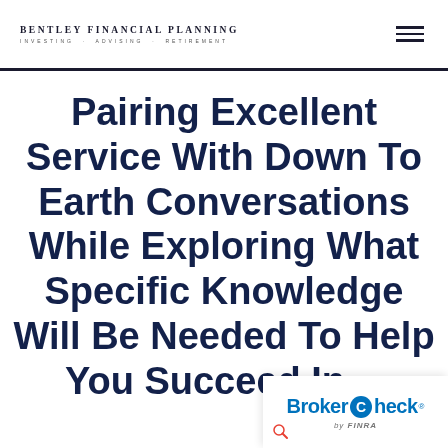BENTLEY FINANCIAL PLANNING — INVESTING · ADVISING · RETIREMENT
Pairing Excellent Service With Down To Earth Conversations While Exploring What Specific Knowledge Will Be Needed To Help You Succeed In…
[Figure (logo): BrokerCheck by FINRA badge in the bottom-right corner]